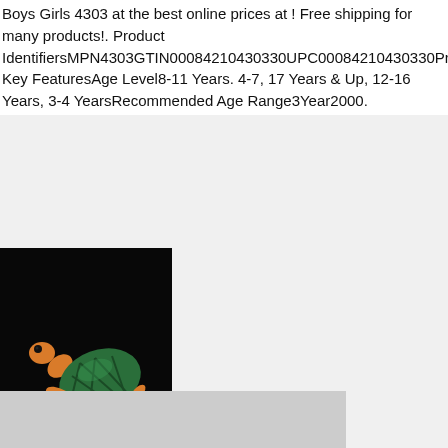Boys Girls 4303 at the best online prices at ! Free shipping for many products!. Product IdentifiersMPN4303⁠GTIN00084210430330⁠UPC00084210430330⁠Product Key FeaturesAge Level8-11 Years. 4-7, 17 Years & Up, 12-16 Years, 3-4 Years⁠Recommended Age Range3⁠Year2000⁠.
[Figure (photo): A Ty Beanie Baby stuffed turtle toy with orange body and green shell, with a red heart-shaped Ty tag, photographed against a black background.]
[Figure (photo): Close-up of a Ty Beanie Baby turtle toy showing orange textured body and green patterned shell against a light grey background.]